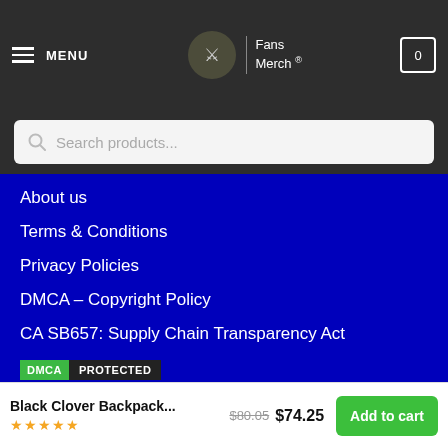MENU | Fans Merch ® | 0
Search products...
About us
Terms & Conditions
Privacy Policies
DMCA – Copyright Policy
CA SB657: Supply Chain Transparency Act
[Figure (logo): DMCA PROTECTED badge — green DMCA label next to dark PROTECTED label]
SUPPORT
Shipping & Delivery Policies
Black Clover Backpack... $80.05 $74.25 Add to cart ★★★★½